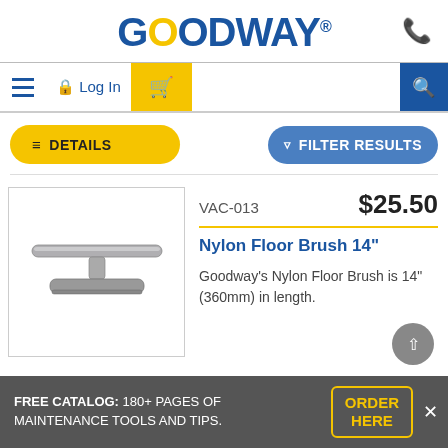GOODWAY®
[Figure (logo): Goodway logo in blue with yellow O letter, registered trademark symbol]
[Figure (screenshot): Navigation bar with hamburger menu, lock icon Log In, shopping cart (yellow background), search icon (blue background)]
≡ DETAILS
▼ FILTER RESULTS
[Figure (photo): Nylon Floor Brush product photo - T-shaped floor brush attachment in silver/grey]
VAC-013
$25.50
Nylon Floor Brush 14"
Goodway's Nylon Floor Brush is 14" (360mm) in length.
FREE CATALOG: 180+ PAGES OF MAINTENANCE TOOLS AND TIPS. | ORDER HERE